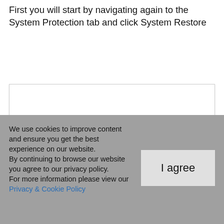First you will start by navigating again to the System Protection tab and click System Restore
[Figure (screenshot): Blank white screenshot area with light border, partially visible]
We use cookies to improve content and ensure you get the best experience on our website.
By continuing to browse our website you agree to our privacy policy.
For more information please view our Privacy & Cookie Policy